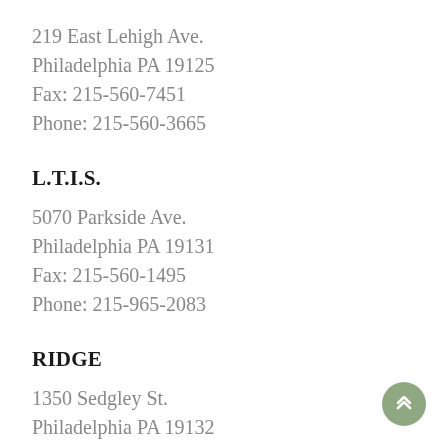219 East Lehigh Ave.
Philadelphia PA 19125
Fax: 215-560-7451
Phone: 215-560-3665
L.T.I.S.
5070 Parkside Ave.
Philadelphia PA 19131
Fax: 215-560-1495
Phone: 215-965-2083
RIDGE
1350 Sedgley St.
Philadelphia PA 19132